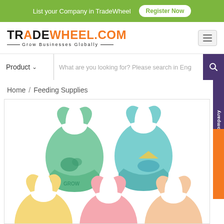List your Company in TradeWheel   Register Now
[Figure (logo): TradeWheel.com logo with tagline Grow Businesses Globally]
Product  What are you looking for? Please search in Eng
Home / Feeding Supplies
[Figure (photo): Baby feeding bibs in multiple pastel colors (green, teal, yellow, pink, orange) arranged in two rows on white background]